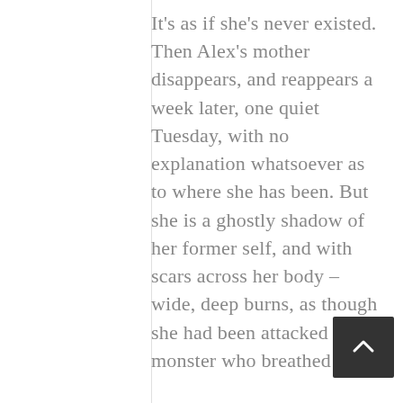It's as if she's never existed. Then Alex's mother disappears, and reappears a week later, one quiet Tuesday, with no explanation whatsoever as to where she has been. But she is a ghostly shadow of her former self, and with scars across her body – wide, deep burns, as though she had been attacked by a monster who breathed fire.

Alex, growing from young